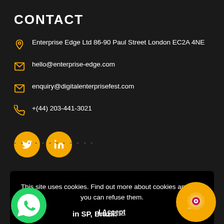CONTACT
Enterprise Edge Ltd 86-90 Paul Street London EC2A 4NE
hello@enterprise-edge.com
enquiry@digitalenterprisefest.com
+(44) 203-441-3021
[Figure (infographic): Two yellow circular social media buttons: Twitter (bird icon) and LinkedIn (in icon)]
This site uses cookies. Find out more about cookies and how you can refuse them.
I Accept
in SP, Brazil.